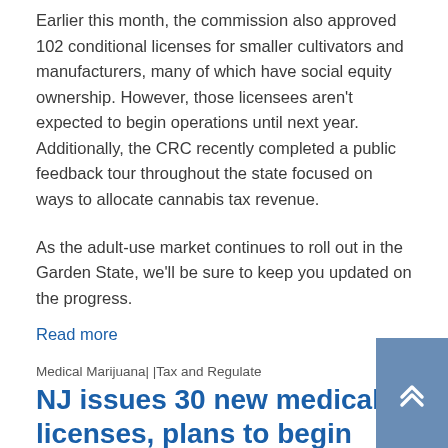Earlier this month, the commission also approved 102 conditional licenses for smaller cultivators and manufacturers, many of which have social equity ownership. However, those licensees aren't expected to begin operations until next year. Additionally, the CRC recently completed a public feedback tour throughout the state focused on ways to allocate cannabis tax revenue.
As the adult-use market continues to roll out in the Garden State, we'll be sure to keep you updated on the progress.
Read more
Medical Marijuana| |Tax and Regulate
NJ issues 30 new medical licenses, plans to begin